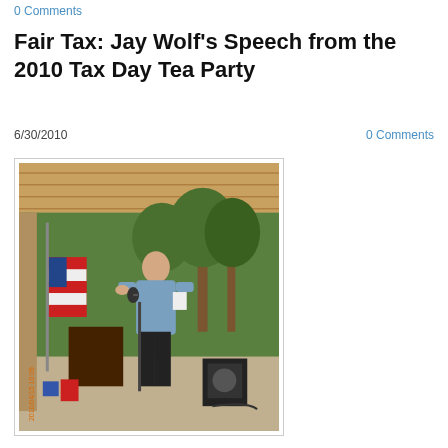0 Comments
Fair Tax: Jay Wolf's Speech from the 2010 Tax Day Tea Party
6/30/2010
0 Comments
[Figure (photo): Man standing at a microphone on an outdoor pavilion stage, holding papers, with an American flag to his left and trees in the background. A speaker/amplifier is visible on the right side of the stage.]